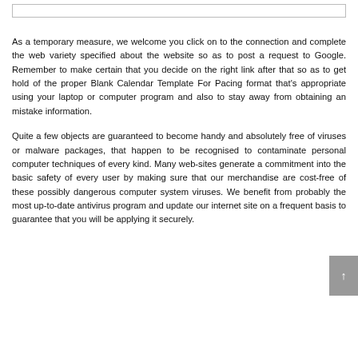[Figure (other): Empty bordered rectangle at top of page]
As a temporary measure, we welcome you click on to the connection and complete the web variety specified about the website so as to post a request to Google. Remember to make certain that you decide on the right link after that so as to get hold of the proper Blank Calendar Template For Pacing format that's appropriate using your laptop or computer program and also to stay away from obtaining an mistake information.
Quite a few objects are guaranteed to become handy and absolutely free of viruses or malware packages, that happen to be recognised to contaminate personal computer techniques of every kind. Many web-sites generate a commitment into the basic safety of every user by making sure that our merchandise are cost-free of these possibly dangerous computer system viruses. We benefit from probably the most up-to-date antivirus program and update our internet site on a frequent basis to guarantee that you will be applying it securely.